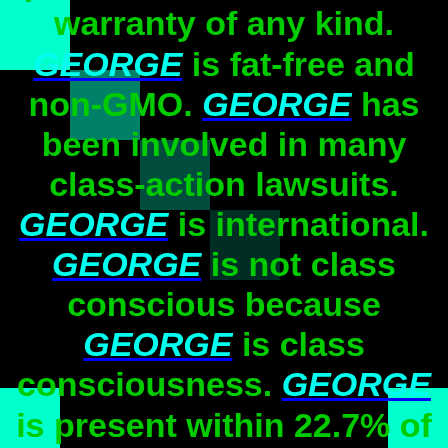provided "as is", without warranty of any kind. GEORGE is fat-free and non-GMO. GEORGE has been involved in many class-action lawsuits. GEORGE is international. GEORGE is not class conscious because GEORGE is class consciousness. GEORGE is present within 22.7% of stellar cores.